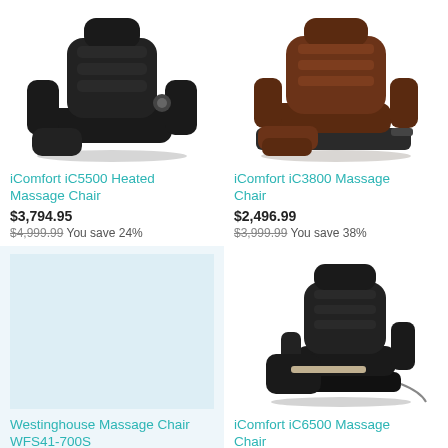[Figure (photo): iComfort iC5500 Heated Massage Chair - black massage chair product photo]
iComfort iC5500 Heated Massage Chair
$3,794.95
$4,999.99 You save 24%
[Figure (photo): iComfort iC3800 Massage Chair - dark brown/black massage chair product photo]
iComfort iC3800 Massage Chair
$2,496.99
$3,999.99 You save 38%
[Figure (photo): Westinghouse Massage Chair WFS41-700S - no image shown, light blue placeholder]
Westinghouse Massage Chair WFS41-700S
[Figure (photo): iComfort iC6500 Massage Chair - black massage chair product photo]
iComfort iC6500 Massage Chair